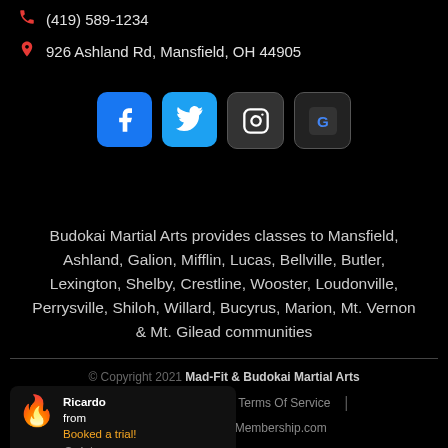(419) 589-1234
926 Ashland Rd, Mansfield, OH 44905
[Figure (other): Social media icons row: Facebook, Twitter, Instagram, Google Maps]
Budokai Martial Arts provides classes to Mansfield, Ashland, Galion, Mifflin, Lucas, Bellville, Butler, Lexington, Shelby, Crestline, Wooster, Loudonville, Perrysville, Shiloh, Willard, Bucyrus, Marion, Mt. Vernon & Mt. Gilead communities
© Copyright 2021 Mad-Fit & Budokai Martial Arts | Privacy Policy | Terms Of Service | Created by SparkMembership.com
Ricardo from Booked a trial! 4 days ago